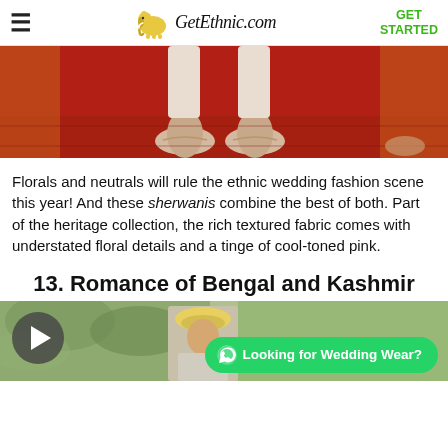GetEthnic.com | GET STARTED
[Figure (photo): Close-up photo of feet in embroidered shoes standing on a red and orange patterned rug/carpet, with orange fabric visible around]
Florals and neutrals will rule the ethnic wedding fashion scene this year! And these sherwanis combine the best of both. Part of the heritage collection, the rich textured fabric comes with understated floral details and a tinge of cool-toned pink.
13. Romance of Bengal and Kashmir
[Figure (photo): Partial view of a man in traditional Indian ethnic wear with a turban, photographed outdoors with foliage in background. A WhatsApp button overlay reads 'Looking for Wedding Wear?']